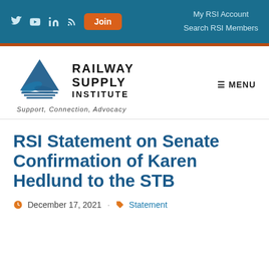My RSI Account · Search RSI Members · Join
[Figure (logo): Railway Supply Institute logo with triangular mountain/wave icon and text 'RAILWAY SUPPLY INSTITUTE — Support, Connection, Advocacy']
RSI Statement on Senate Confirmation of Karen Hedlund to the STB
December 17, 2021 · Statement